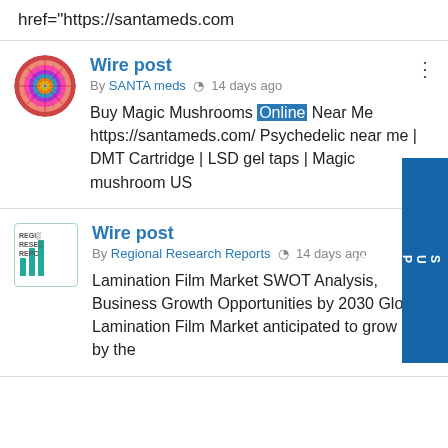href="https://santameds.com
Wire post
By SANTA meds  14 days ago
Buy Magic Mushrooms Online Near Me https://santameds.com/ Psychedelic near me | DMT Cartridge | LSD gel taps | Magic mushroom US
Wire post
By Regional Research Reports  14 days ago
Lamination Film Market SWOT Analysis, Business Growth Opportunities by 2030 Global Lamination Film Market anticipated to grow 1.5x by the